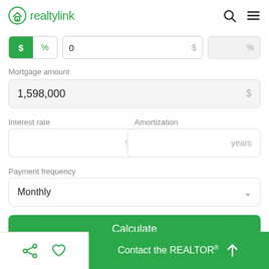[Figure (logo): realtylink logo with house icon in green, search and hamburger menu icons top right]
$ | % toggle, 0 input field with $ suffix, disabled % field
Mortgage amount
1,598,000 $
Interest rate
Amortization
% (empty input)
years (empty input)
Payment frequency
Monthly
Calculate
Contact the REALTOR®